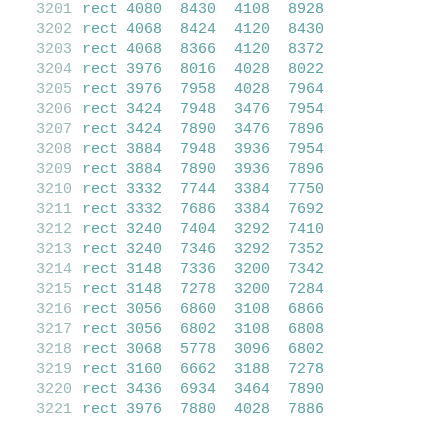| 3201 | rect | 4080 | 8430 | 4108 | 8928 |
| 3202 | rect | 4068 | 8424 | 4120 | 8430 |
| 3203 | rect | 4068 | 8366 | 4120 | 8372 |
| 3204 | rect | 3976 | 8016 | 4028 | 8022 |
| 3205 | rect | 3976 | 7958 | 4028 | 7964 |
| 3206 | rect | 3424 | 7948 | 3476 | 7954 |
| 3207 | rect | 3424 | 7890 | 3476 | 7896 |
| 3208 | rect | 3884 | 7948 | 3936 | 7954 |
| 3209 | rect | 3884 | 7890 | 3936 | 7896 |
| 3210 | rect | 3332 | 7744 | 3384 | 7750 |
| 3211 | rect | 3332 | 7686 | 3384 | 7692 |
| 3212 | rect | 3240 | 7404 | 3292 | 7410 |
| 3213 | rect | 3240 | 7346 | 3292 | 7352 |
| 3214 | rect | 3148 | 7336 | 3200 | 7342 |
| 3215 | rect | 3148 | 7278 | 3200 | 7284 |
| 3216 | rect | 3056 | 6860 | 3108 | 6866 |
| 3217 | rect | 3056 | 6802 | 3108 | 6808 |
| 3218 | rect | 3068 | 5778 | 3096 | 6802 |
| 3219 | rect | 3160 | 6662 | 3188 | 7278 |
| 3220 | rect | 3436 | 6934 | 3464 | 7890 |
| 3221 | rect | 3976 | 7880 | 4028 | 7886 |